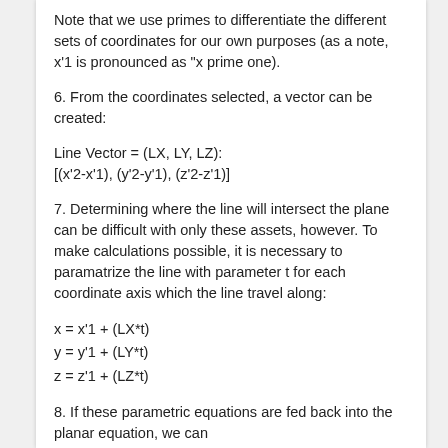Note that we use primes to differentiate the different sets of coordinates for our own purposes (as a note, x'1 is pronounced as "x prime one).
6. From the coordinates selected, a vector can be created:
Line Vector = (LX, LY, LZ): [(x'2-x'1), (y'2-y'1), (z'2-z'1)]
7. Determining where the line will intersect the plane can be difficult with only these assets, however. To make calculations possible, it is necessary to paramatrize the line with parameter t for each coordinate axis which the line travel along:
8. If these parametric equations are fed back into the planar equation, we can